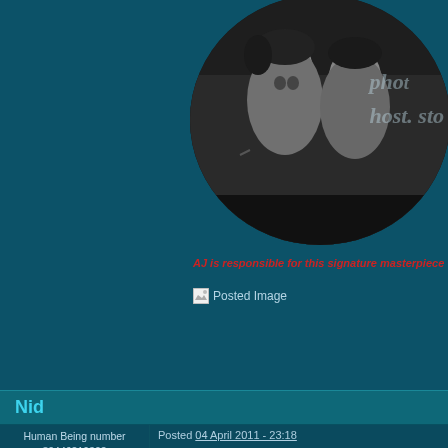[Figure (photo): Circular black and white portrait photo of two people, partially cropped, with photobucket watermark text overlaid in the top right area]
AJ is responsible for this signature masterpiece
[Figure (photo): Small posted image icon with broken image placeholder]
Nid
Human Being number 80446219302
[Figure (photo): Default avatar silhouette placeholder image]
Project Team
[Figure (illustration): Project Team badge/banner graphic with teal metallic styling]
2501 posts
Posted 04 April 2011 - 23:18
Damnit, I'm away from home, and I reco my knowledge. Sorry I can't help you m
[Figure (photo): Partial photo visible at the right edge, showing what appears to be a wooden background with a person]